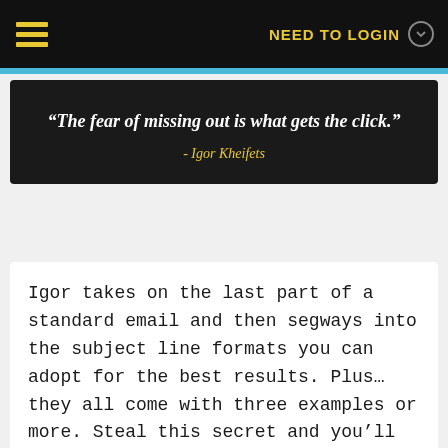NEED TO LOGIN
“The fear of missing out is what gets the click.” - Igor Kheifets
Igor takes on the last part of a standard email and then segways into the subject line formats you can adopt for the best results. Plus… they all come with three examples or more. Steal this secret and you’ll get more clicks from your emails.